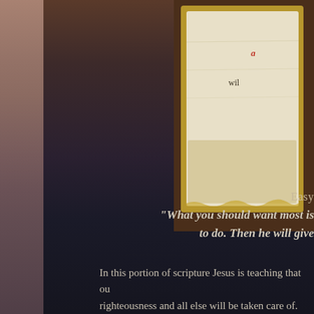[Figure (illustration): A parchment scroll/paper image in the top right corner with handwritten-style italic text in red and black on aged paper background, partially visible. Shows text beginning with 'a' in red italic and 'wil' in black.]
Easy
“What you should want most is to do. Then he will give
In this portion of scripture Jesus is teaching that ou righteousness and all else will be taken care of. He the anything to do. He will not only help this